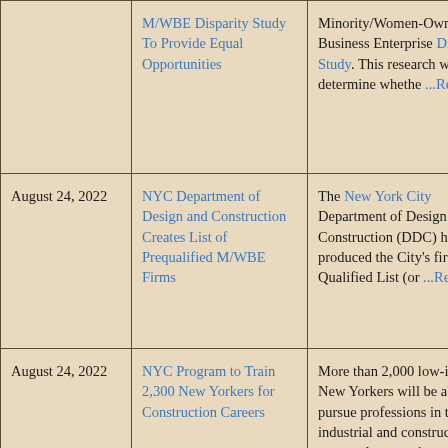| Date | Title | Description |
| --- | --- | --- |
|  | M/WBE Disparity Study To Provide Equal Opportunities | Minority/Women-Owned Business Enterprise Disparity Study. This research will determine whethe ...Read more |
| August 24, 2022 | NYC Department of Design and Construction Creates List of Prequalified M/WBE Firms | The New York City Department of Design and Construction (DDC) has produced the City's first Pre-Qualified List (or ...Read more |
| August 24, 2022 | NYC Program to Train 2,300 New Yorkers for Construction Careers | More than 2,000 low-income New Yorkers will be able to pursue professions in the industrial and construction sectors due to a city employment initiative that began on August 22nd. |